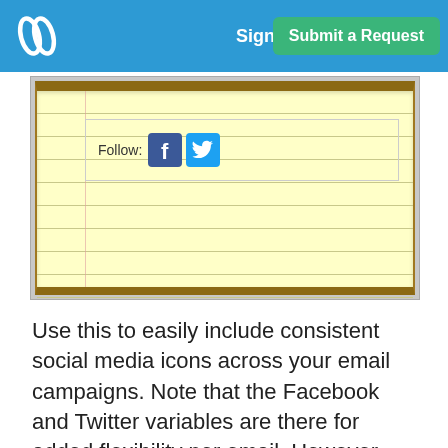Sign In | Submit a Request
[Figure (screenshot): Screenshot of a notepad-style email template showing a 'Follow:' row with Facebook and Twitter social media icons inside a lined yellow notepad graphic.]
Use this to easily include consistent social media icons across your email campaigns. Note that the Facebook and Twitter variables are there for added flexibility per email. However, you may also hardcode the links to other social media pages, such as Google, Linked In, Pinterest,